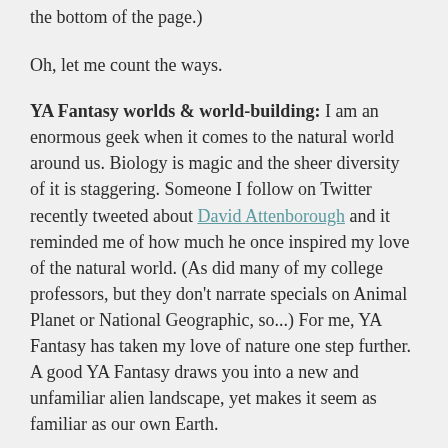the bottom of the page.)
Oh, let me count the ways.
YA Fantasy worlds & world-building: I am an enormous geek when it comes to the natural world around us. Biology is magic and the sheer diversity of it is staggering. Someone I follow on Twitter recently tweeted about David Attenborough and it reminded me of how much he once inspired my love of the natural world. (As did many of my college professors, but they don't narrate specials on Animal Planet or National Geographic, so...) For me, YA Fantasy has taken my love of nature one step further. A good YA Fantasy draws you into a new and unfamiliar alien landscape, yet makes it seem as familiar as our own Earth.